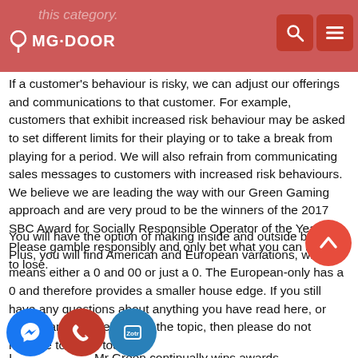this category. MG DOOR
If a customer's behaviour is risky, we can adjust our offerings and communications to that customer. For example, customers that exhibit increased risk behaviour may be asked to set different limits for their playing or to take a break from playing for a period. We will also refrain from communicating sales messages to customers with increased risk behaviours. We believe we are leading the way with our Green Gaming approach and are very proud to be the winners of the 2017 SBC Award for Socially Responsible Operator of the Year. Please gamble responsibly and only bet what you can afford to lose.
You will have the option of making inside and outside bets. Plus, you will find American and European variations, which means either a 0 and 00 or just a 0. The European-only has a 0 and therefore provides a smaller house edge. If you still have any questions about anything you have read here, or indeed anything relating to the topic, then please do not hesitate to get in touch.
In summary, the Mr Green continually wins awards for being so famous online casino. We recommend trying